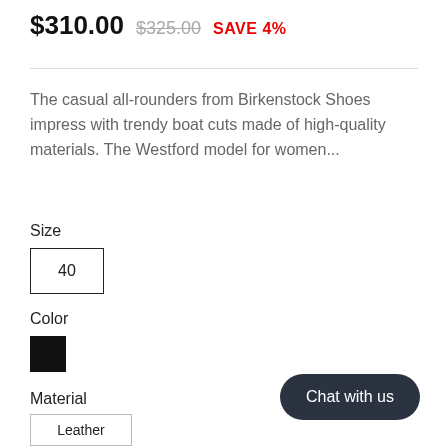$310.00  $325.00  SAVE 4%
The casual all-rounders from Birkenstock Shoes impress with trendy boat cuts made of high-quality materials. The Westford model for women...
Size
40
Color
[Figure (other): Black color swatch square]
Material
Leather
Chat with us